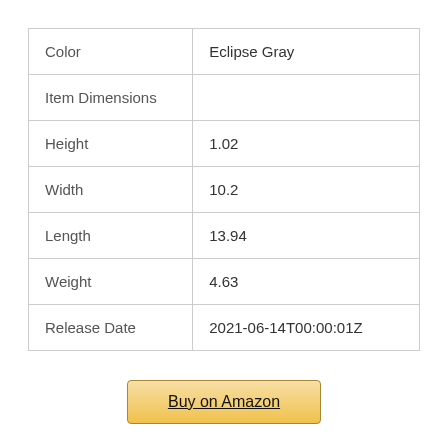| Color | Eclipse Gray |
| Item Dimensions |  |
| Height | 1.02 |
| Width | 10.2 |
| Length | 13.94 |
| Weight | 4.63 |
| Release Date | 2021-06-14T00:00:01Z |
Buy on Amazon